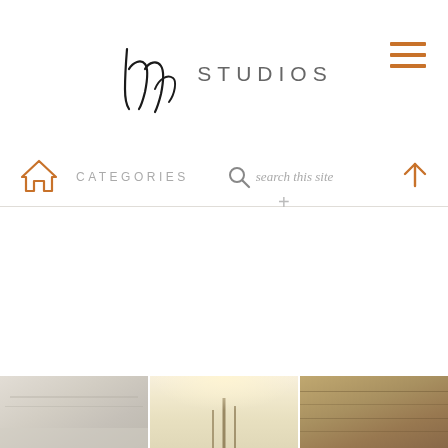hvp STUDIOS
CATEGORIES
search this site
[Figure (photo): Three landscape photos at the bottom: left shows a misty/snowy scene, center shows silhouetted trees in warm golden light, right shows a warm brown textured landscape]
+